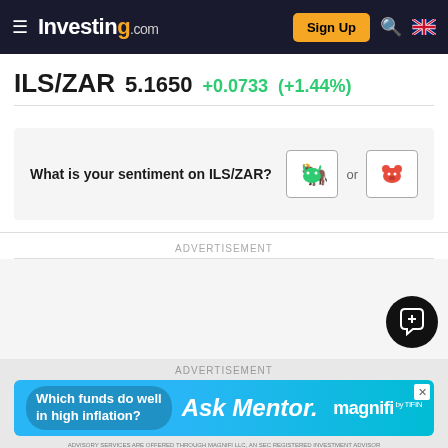Investing.com — Sign Up
ILS/ZAR  5.1650  +0.0733  (+1.44%)
What is your sentiment on ILS/ZAR?
ADVERTISEMENT
ADVERTISEMENT
Which funds do well in high inflation?  Ask Mentor.  magnifi  ADVISORY SERVICES ARE OFFERED THROUGH MAGNIFI LLC, AN SEC REGISTERED INVESTMENT ADVISOR